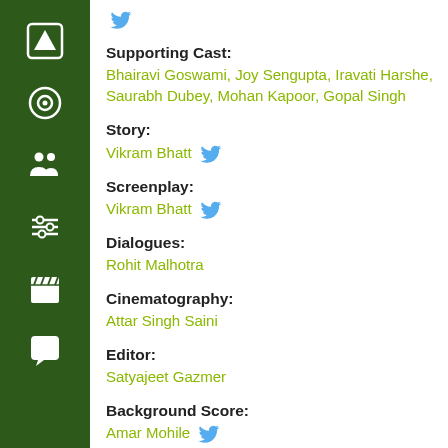[Figure (other): Dark green vertical sidebar with white icons: up arrow, circle, two-person figure, sliders/equalizer, clapperboard, speech bubble]
[Figure (logo): Twitter bird icon at top of content area]
Supporting Cast: Bhairavi Goswami, Joy Sengupta, Iravati Harshe, Saurabh Dubey, Mohan Kapoor, Gopal Singh
Story: Vikram Bhatt [twitter icon]
Screenplay: Vikram Bhatt [twitter icon]
Dialogues: Rohit Malhotra
Cinematography: Attar Singh Saini
Editor: Satyajeet Gazmer
Background Score: Amar Mohile [twitter icon]
Action Choreography: Abbas Ali Moghul